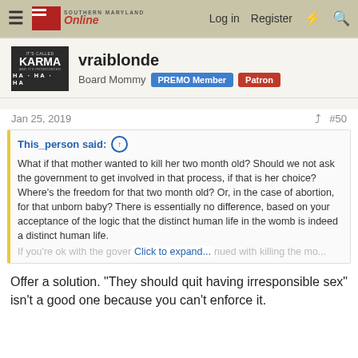Southern Maryland Online — Log in  Register
vraiblonde
Board Mommy  PREMO Member  Patron
Jan 25, 2019  #50
This_person said:
What if that mother wanted to kill her two month old? Should we not ask the government to get involved in that process, if that is her choice? Where's the freedom for that two month old? Or, in the case of abortion, for that unborn baby? There is essentially no difference, based on your acceptance of the logic that the distinct human life in the womb is indeed a distinct human life.
If you're ok with the government... Click to expand...
Offer a solution. "They should quit having irresponsible sex" isn't a good one because you can't enforce it.